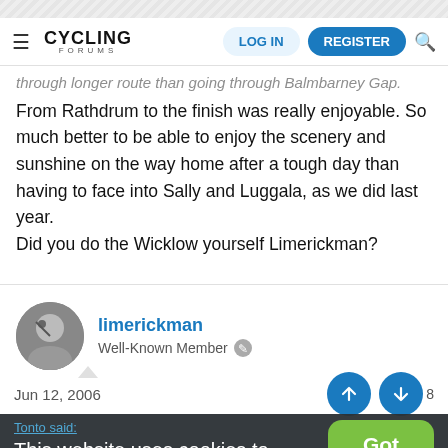Cycling Forums — LOG IN | REGISTER
...through longer route than going through Balmbarney Gap. From Rathdrum to the finish was really enjoyable. So much better to be able to enjoy the scenery and sunshine on the way home after a tough day than having to face into Sally and Luggala, as we did last year. Did you do the Wicklow yourself Limerickman?
limerickman
Well-Known Member
Jun 12, 2006
This website uses cookies to improve your experience. Learn More
Hi, Didn't see your post til just now. I did the Wicklow200